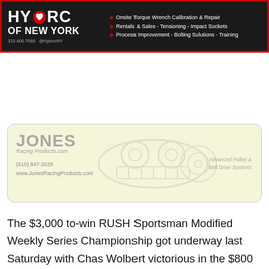[Figure (other): HYTORC OF NEW YORK advertisement banner. Black background with red border. Logo text 'HY TORC OF NEW YORK' with red heart/logo icon. Services listed: Onsite Torque Wrench Calibration & Repair, Rentals & Sales - Tensioning - Impact Sockets, Process Improvement - Bolting Solutions - Training. Phone: 315.400.7588, @HytorcNY]
[Figure (other): Jones Racing Products advertisement. Light yellow background with rounded corners. Large grey 'JONES' text with 'Racing Products.com' tagline. Contact: (610) 847-2028, www.JonesRacingProducts.com. Faded engine/pulley imagery. Text 'Advanced Pulley & Belt Drive Systems']
The $3,000 to-win RUSH Sportsman Modified Weekly Series Championship got underway last Saturday with Chas Wolbert victorious in the $800 to-win make-up feature. Wolbert enters Saturday night with a five-race win streak dating back to last season with two of the victories being Touring Series events. The HTMA/Precise Racing Products Championship hunt will